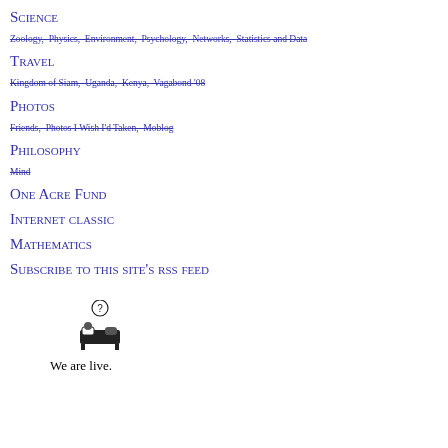Science
Zoology,  Physics,  Environment,  Psychology,  Networks,  Statistics and Data
Travel
Kingdom of Siam,  Uganda,  Kenya,  Vagabond '08
Photos
Friends,  Photos I Wish I'd Taken,  Moblog
Philosophy
Mind
One Acre Fund
Internet classic
Mathematics
Subscribe to this site's rss feed
[Figure (illustration): Icon of a person lying in bed with a question mark above their head]
We are live.